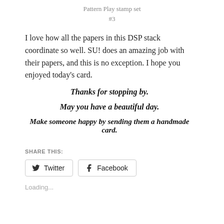Pattern Play stamp set
#3
I love how all the papers in this DSP stack coordinate so well. SU! does an amazing job with their papers, and this is no exception. I hope you enjoyed today’s card.
Thanks for stopping by.
May you have a beautiful day.
Make someone happy by sending them a handmade card.
SHARE THIS:
Twitter  Facebook
Loading...